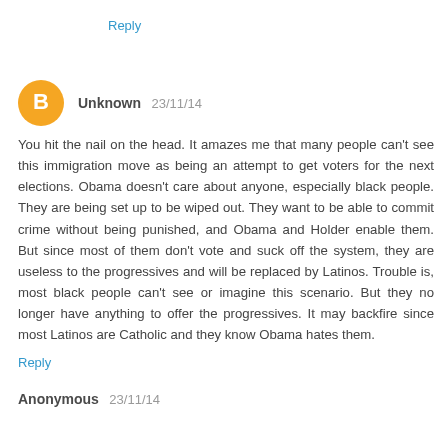Reply
Unknown 23/11/14
You hit the nail on the head. It amazes me that many people can't see this immigration move as being an attempt to get voters for the next elections. Obama doesn't care about anyone, especially black people. They are being set up to be wiped out. They want to be able to commit crime without being punished, and Obama and Holder enable them. But since most of them don't vote and suck off the system, they are useless to the progressives and will be replaced by Latinos. Trouble is, most black people can't see or imagine this scenario. But they no longer have anything to offer the progressives. It may backfire since most Latinos are Catholic and they know Obama hates them.
Reply
Anonymous 23/11/14